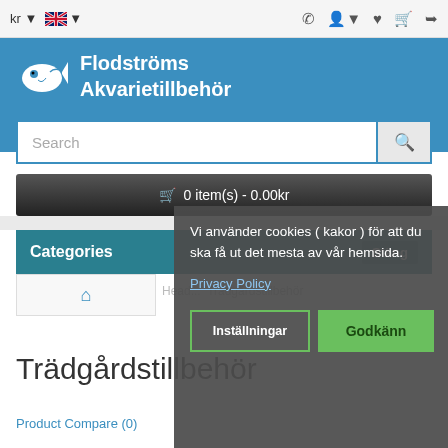[Figure (screenshot): Screenshot of Flodströms Akvarietillbehör e-commerce website with top navigation bar showing currency (kr) and language (UK flag) selectors, and icons for phone, account, wishlist, cart, and share.]
[Figure (logo): Flodströms Akvarietillbehör logo with white fish icon on blue background and white bold text 'Flodströms Akvarietillbehör']
Search
🛒 0 item(s) - 0.00kr
Categories
Stäng
Head... Trädgårdstillbehör
Trädgårdstillbehör
Product Compare (0)
Vi använder cookies ( kakor ) för att du ska få ut det mesta av vår hemsida.
Privacy Policy
Inställningar
Godkänn